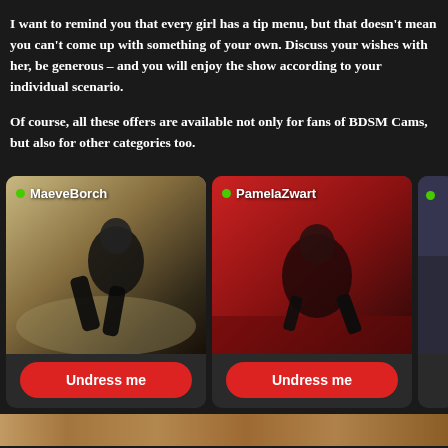I want to remind you that every girl has a tip menu, but that doesn't mean you can't come up with something of your own. Discuss your wishes with her, be generous – and you will enjoy the show according to your individual scenario.
Of course, all these offers are available not only for fans of BDSM Cams, but also for other categories too.
[Figure (photo): Card showing performer MaeveBorch in black latex outfit on golden couch background. Green online dot, name label, and red Undress me button.]
[Figure (photo): Card showing performer PamelaZwart in black outfit on red background. Green online dot, name label, and red Undress me button.]
[Figure (photo): Partially visible third card with green dot indicator, cropped at right edge.]
[Figure (photo): Bottom strip showing partial image with warm golden/skin tones.]